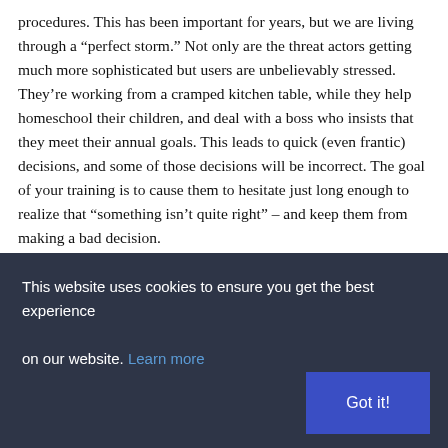procedures. This has been important for years, but we are living through a “perfect storm.” Not only are the threat actors getting much more sophisticated but users are unbelievably stressed. They’re working from a cramped kitchen table, while they help homeschool their children, and deal with a boss who insists that they meet their annual goals. This leads to quick (even frantic) decisions, and some of those decisions will be incorrect. The goal of your training is to cause them to hesitate just long enough to realize that “something isn’t quite right” – and keep them from making a bad decision.
This website uses cookies to ensure you get the best experience on our website. Learn more